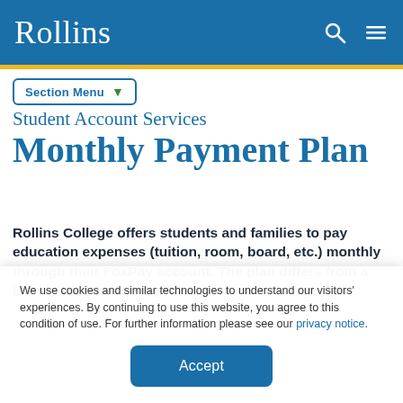Rollins
Section Menu
Student Account Services Monthly Payment Plan
Rollins College offers students and families to pay education expenses (tuition, room, board, etc.) monthly through their FoxPay account. The plan differs from a loan in that there is no interest
We use cookies and similar technologies to understand our visitors' experiences. By continuing to use this website, you agree to this condition of use. For further information please see our privacy notice.